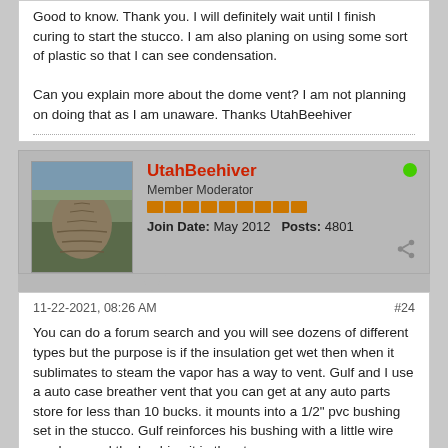Good to know. Thank you. I will definitely wait until I finish curing to start the stucco. I am also planing on using some sort of plastic so that I can see condensation.

Can you explain more about the dome vent? I am not planning on doing that as I am unaware. Thanks UtahBeehiver
UtahBeehiver
Member Moderator
Join Date: May 2012   Posts: 4801
11-22-2021, 08:26 AM
#24
You can do a forum search and you will see dozens of different types but the purpose is if the insulation get wet then when it sublimates to steam the vapor has a way to vent. Gulf and I use a auto case breather vent that you can get at any auto parts store for less than 10 bucks. it mounts into a 1/2" pvc bushing set in the stucco. Gulf reinforces his bushing with a little wire mesh around the bushing it in the stucco.
[Figure (photo): A dark metallic auto case breather vent, circular/dome shaped, photographed from above on a light background.]